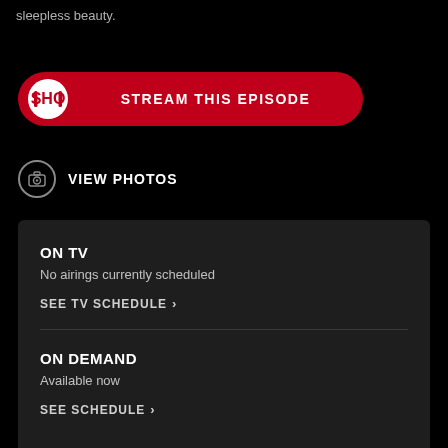sleepless beauty.
[Figure (screenshot): Red pill-shaped button with Showtime (SHO) logo on the left and 'STREAM THIS EPISODE' text]
[Figure (screenshot): Camera icon circle with 'VIEW PHOTOS' label]
ON TV
No airings currently scheduled
SEE TV SCHEDULE >
ON DEMAND
Available now
SEE SCHEDULE >